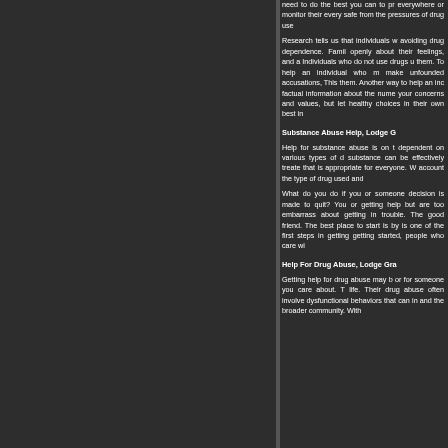need to do the best you can to pr everywhere or monitor their every safe from the pressures of drug use
Research tells us that individuals w avoiding drug dependence. Famil openly about their feelings, and a Individuals who do not use drugs u them. To help an individual who m make unfounded accusations, This them. Another way to help an inc factual information about the nume your concerns and values, but let healthy choices in their own best in
Substance Abuse Help, Lodge G
Help for substance abuse is on t dependent on various types of d substance can be effectively treate that is appropriate for everyone. W account the type of drug used and
What do you do if you or someone decision is made to quit? You or getting help but are too embarrass about getting in trouble. The good friend. The best place to start is by is one of the first steps in getting getting started, people who care wi
Help For Drug Abuse, Lodge Gra
Getting help for drug abuse may b or for someone you care about. T life. Their drug abuse often involve dysfunctional behaviors that can in and the broader community. With